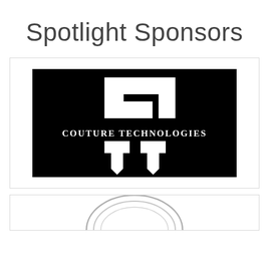Spotlight Sponsors
[Figure (logo): Couture Technologies logo: black background with white CT geometric monogram and text 'COUTURE TECHNOLOGIES' in serif font]
[Figure (logo): Partial circular logo visible at bottom of page, gray/silver tones]